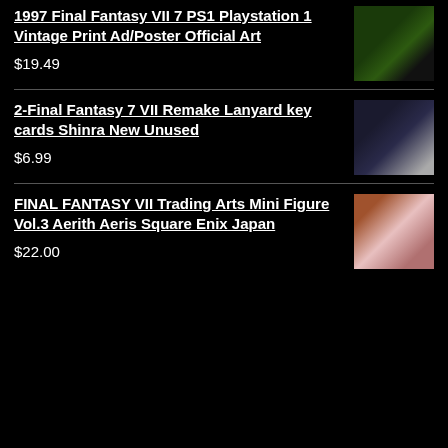1997 Final Fantasy VII 7 PS1 Playstation 1 Vintage Print Ad/Poster Official Art
$19.49
[Figure (photo): Thumbnail image of 1997 Final Fantasy VII Playstation 1 vintage print ad/poster, showing dark green game artwork]
2-Final Fantasy 7 VII Remake Lanyard key cards Shinra New Unused
$6.99
[Figure (photo): Thumbnail image of Final Fantasy 7 VII Remake Lanyard key cards Shinra, showing cards and lanyard on white background]
FINAL FANTASY VII Trading Arts Mini Figure Vol.3 Aerith Aeris Square Enix Japan
$22.00
[Figure (photo): Thumbnail image of FINAL FANTASY VII Trading Arts Mini Figure Vol.3 Aerith Aeris, showing pink-dressed figure]